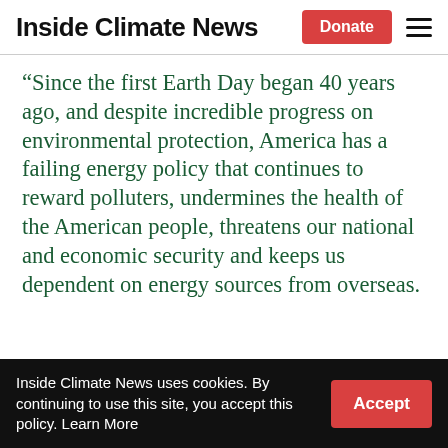Inside Climate News
“Since the first Earth Day began 40 years ago, and despite incredible progress on environmental protection, America has a failing energy policy that continues to reward polluters, undermines the health of the American people, threatens our national and economic security and keeps us dependent on energy sources from overseas.
Inside Climate News uses cookies. By continuing to use this site, you accept this policy. Learn More